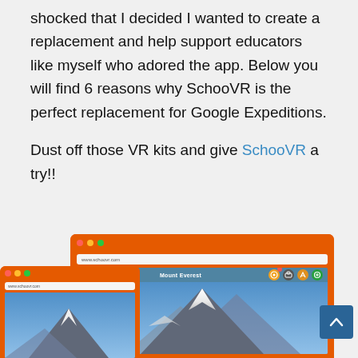shocked that I decided I wanted to create a replacement and help support educators like myself who adored the app. Below you will find 6 reasons why SchooVR is the perfect replacement for Google Expeditions.
Dust off those VR kits and give SchooVR a try!!
[Figure (screenshot): Screenshot of SchooVR web application showing browser windows with a Mount Everest VR scene, orange browser chrome, address bar showing www.schoovr.com, and navigation toolbar icons.]